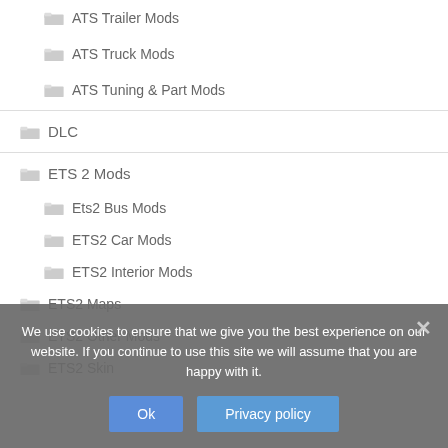ATS Trailer Mods
ATS Truck Mods
ATS Tuning & Part Mods
DLC
ETS 2 Mods
Ets2 Bus Mods
ETS2 Car Mods
ETS2 Interior Mods
ETS2 Maps
ETS2 Other Mods
ETS2 Skin
We use cookies to ensure that we give you the best experience on our website. If you continue to use this site we will assume that you are happy with it.
Ok
Privacy policy